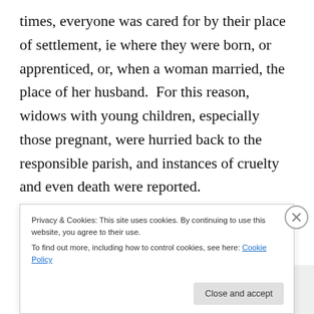times, everyone was cared for by their place of settlement, ie where they were born, or apprenticed, or, when a woman married, the place of her husband.  For this reason, widows with young children, especially those pregnant, were hurried back to the responsible parish, and instances of cruelty and even death were reported.
[Figure (screenshot): Partially visible advertisement banner with bold text reading 'Getting your team on the same page is easy. And free.' with user avatar circles below. Gray background.]
[Figure (screenshot): Cookie consent banner with text: 'Privacy & Cookies: This site uses cookies. By continuing to use this website, you agree to their use. To find out more, including how to control cookies, see here: Cookie Policy' and a 'Close and accept' button. A close (X) button appears at right.]